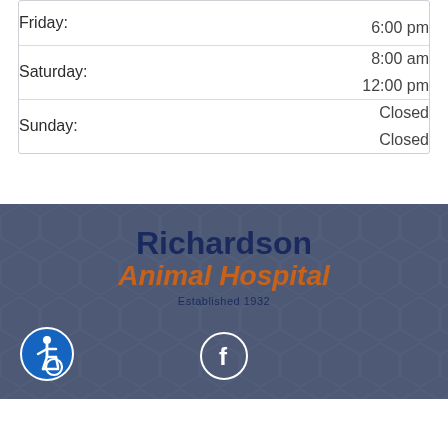| Day | Hours |
| --- | --- |
| Friday: | 6:00 pm |
| Saturday: | 8:00 am / 12:00 pm |
| Sunday: | Closed / Closed |
[Figure (logo): Richardson Animal Hospital logo with text 'Richardson' in dark navy bold, 'Animal Hospital' in orange italic, and 'Established 1932' below in small dark text. Accessibility icon (blue circle with wheelchair symbol) at bottom left. Facebook icon (white f in circle outline) at bottom center.]